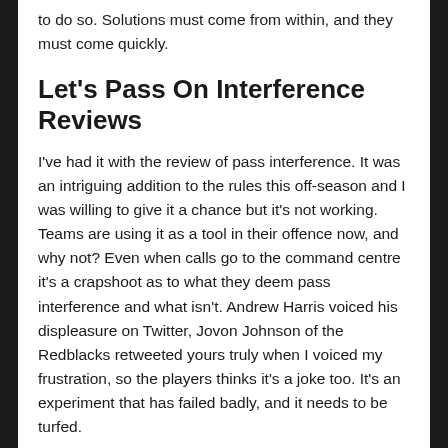to do so. Solutions must come from within, and they must come quickly.
Let's Pass On Interference Reviews
I've had it with the review of pass interference. It was an intriguing addition to the rules this off-season and I was willing to give it a chance but it's not working. Teams are using it as a tool in their offence now, and why not? Even when calls go to the command centre it's a crapshoot as to what they deem pass interference and what isn't. Andrew Harris voiced his displeasure on Twitter, Jovon Johnson of the Redblacks retweeted yours truly when I voiced my frustration, so the players thinks it's a joke too. It's an experiment that has failed badly, and it needs to be turfed.